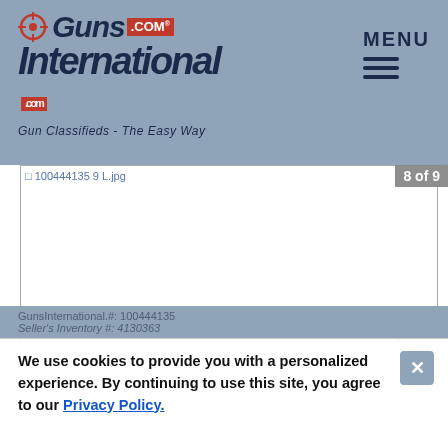Guns International .COM - Gun Classifieds - The Easy Way | MENU
[Figure (screenshot): Broken image placeholder showing filename: 100444135 9 L.jpg, labeled 8 of 9]
[Figure (screenshot): Second image panel labeled 9 of 9, mostly white/blank]
GunsInternational.#: 100444135
Seller's Inventory #: 4130363
We use cookies to provide you with a personalized experience. By continuing to use this site, you agree to our Privacy Policy.